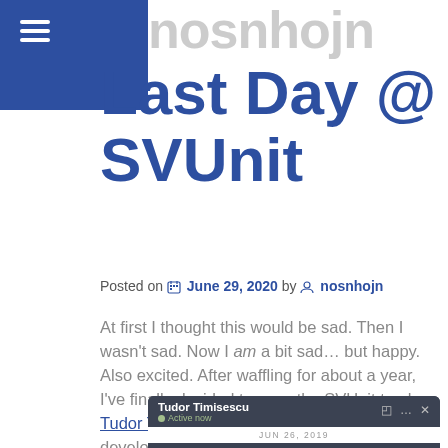nosnhojn
Last Day @ SVUnit
Posted on June 29, 2020 by nosnhojn
At first I thought this would be sad. Then I wasn't sad. Now I am a bit sad… but happy. Also excited. After waffling for about a year, I've finally decided to pass the SVUnit torch. Tudor Timisescu will replace me as lead developer.
[Figure (screenshot): Screenshot of a Facebook Messenger chat showing Tudor Timisescu as Active now, with a message from Neil Johnson at 9:13 AM dated JUN 26, 2019]